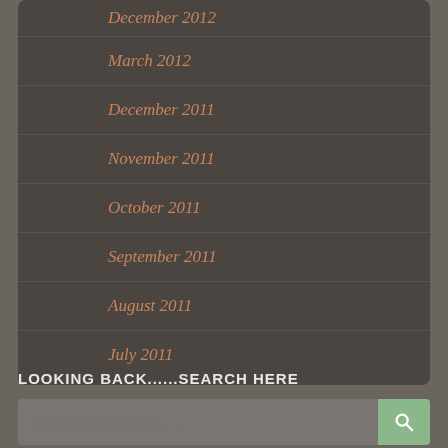December 2012
March 2012
December 2011
November 2011
October 2011
September 2011
August 2011
July 2011
LOOKING BACK......SEARCH HERE
[Figure (other): Search input field with search button]